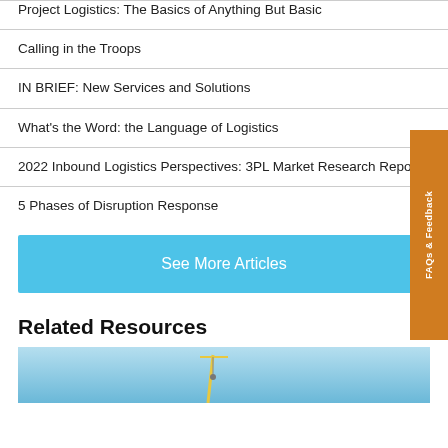Project Logistics: The Basics of Anything But Basic
Calling in the Troops
IN BRIEF: New Services and Solutions
What's the Word: the Language of Logistics
2022 Inbound Logistics Perspectives: 3PL Market Research Report
5 Phases of Disruption Response
See More Articles
Related Resources
[Figure (photo): Photo strip showing a crane or aerial lift against a blue sky background]